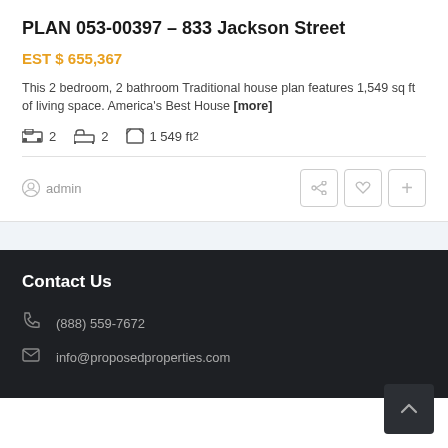PLAN 053-00397 – 833 Jackson Street
EST $ 655,367
This 2 bedroom, 2 bathroom Traditional house plan features 1,549 sq ft of living space. America's Best House [more]
2 bedrooms, 2 bathrooms, 1 549 ft²
admin
Contact Us
(888) 559-7672
info@proposedproperties.com